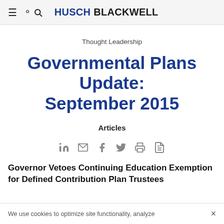HUSCH BLACKWELL
Thought Leadership
Governmental Plans Update: September 2015
Articles
[Figure (infographic): Social sharing icons row: LinkedIn, email, Facebook, Twitter, print, PDF]
Governor Vetoes Continuing Education Exemption for Defined Contribution Plan Trustees
We use cookies to optimize site functionality, analyze